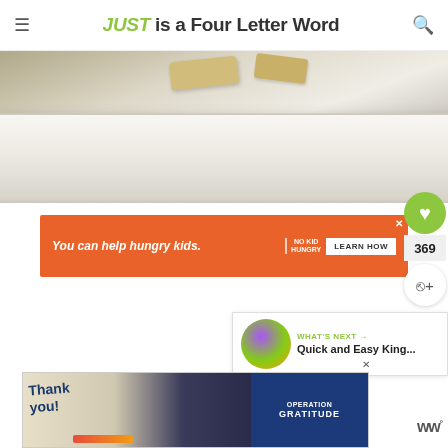JUST is a Four Letter Word
[Figure (photo): Close-up photo of crackers or biscuits on a white marble cutting board, blurred background]
[Figure (infographic): Orange advertisement banner: 'You can help hungry kids.' with No Kid Hungry logo and LEARN HOW button]
[Figure (infographic): Heart/like button (green circle) with count 369, and share button below]
[Figure (infographic): WHAT'S NEXT panel with thumbnail and text 'Quick and Easy King...']
[Figure (infographic): Bottom advertisement: Thank you with Operation Gratitude branding showing firefighters]
ww°